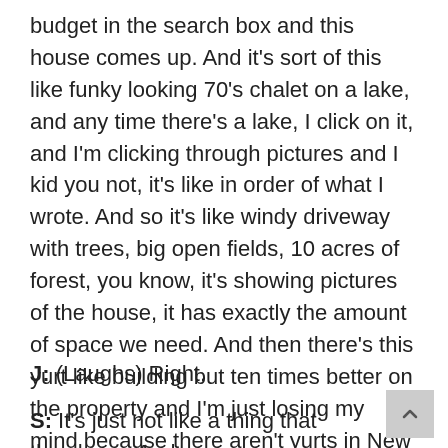budget in the search box and this house comes up. And it's sort of this like funky looking 70's chalet on a lake, and any time there's a lake, I click on it, and I'm clicking through pictures and I kid you not, it's like in order of what I wrote. And so it's like windy driveway with trees, big open fields, 10 acres of forest, you know, it's showing pictures of the house, it has exactly the amount of space we need. And then there's this yurt like building but ten times better on the property and I'm just losing my mind because there aren't yurts in New England.
J: (Laughs) Right.
S: It's just not like a thing that they have. And